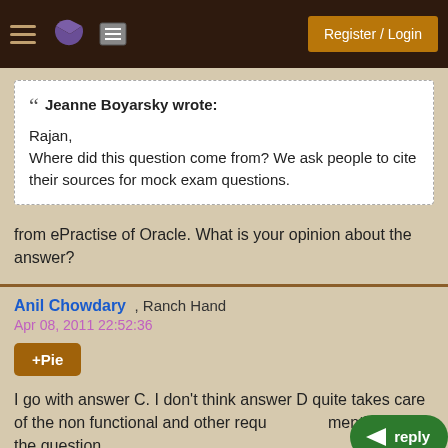Register / Login
Jeanne Boyarsky wrote:
Rajan,
Where did this question come from? We ask people to cite their sources for mock exam questions.
from ePractise of Oracle. What is your opinion about the answer?
Anil Chowdary , Ranch Hand
Apr 08, 2011 22:52:36
+Pie
I go with answer C. I don't think answer D quite takes care of the non functional and other requirements mentioned in the question.